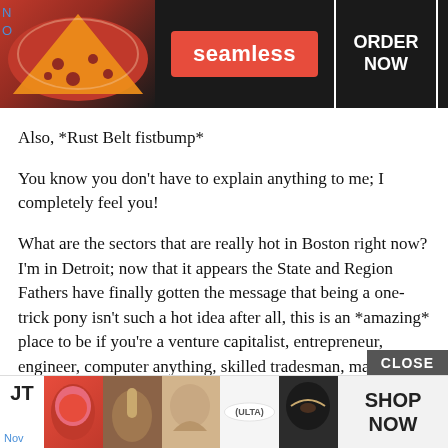[Figure (screenshot): Seamless food delivery advertisement banner with pizza image, red Seamless logo button, and ORDER NOW button in white box on dark background]
Also, *Rust Belt fistbump*
You know you don’t have to explain anything to me; I completely feel you!
What are the sectors that are really hot in Boston right now? I’m in Detroit; now that it appears the State and Region Fathers have finally gotten the message that being a one-trick pony isn’t such a hot idea after all, this is an *amazing* place to be if you’re a venture capitalist, entrepreneur, engineer, computer anything, skilled tradesman, marketer, bio- anything and, very shortly, landscaper, city planner, or contractor. Or if you just want to do something cool that will take a lot of land (there’s even a guy starting a tree farm!).
[Figure (screenshot): Ulta Beauty advertisement banner with makeup/cosmetics images and SHOP NOW button]